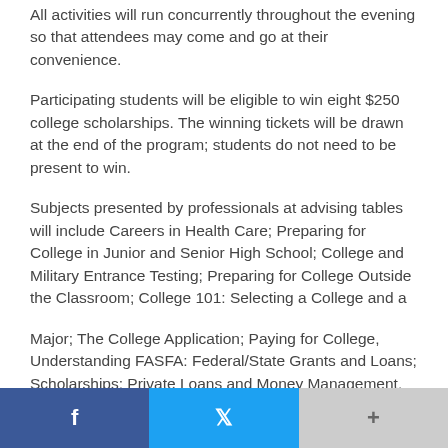All activities will run concurrently throughout the evening so that attendees may come and go at their convenience.
Participating students will be eligible to win eight $250 college scholarships. The winning tickets will be drawn at the end of the program; students do not need to be present to win.
Subjects presented by professionals at advising tables will include Careers in Health Care; Preparing for College in Junior and Senior High School; College and Military Entrance Testing; Preparing for College Outside the Classroom; College 101: Selecting a College and a
Major; The College Application; Paying for College, Understanding FASFA: Federal/State Grants and Loans; Scholarships; Private Loans and Money Management.
College and university representatives will attend from Ashland Community & Technical College, Ashland University, Capital University, Cedarville University, Cleveland State...